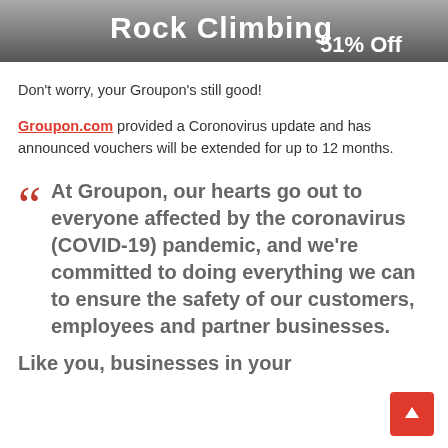[Figure (photo): Grayscale banner image showing text 'Rock Climbing 51% Off']
Don't worry, your Groupon's still good!
Groupon.com provided a Coronovirus update and has announced vouchers will be extended for up to 12 months.
At Groupon, our hearts go out to everyone affected by the coronavirus (COVID-19) pandemic, and we're committed to doing everything we can to ensure the safety of our customers, employees and partner businesses.
Like you, businesses in your